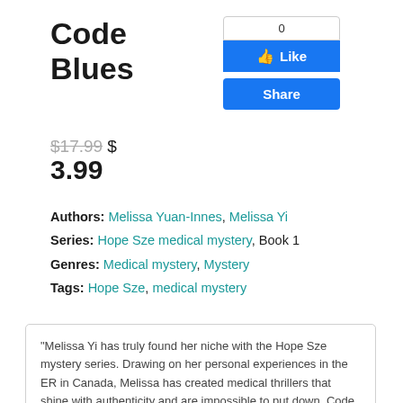Code Blues
[Figure (other): Facebook Like widget with count 0, Like button, and Share button]
$17.99  $ 3.99
Authors: Melissa Yuan-Innes, Melissa Yi
Series: Hope Sze medical mystery, Book 1
Genres: Medical mystery, Mystery
Tags: Hope Sze, medical mystery
"Melissa Yi has truly found her niche with the Hope Sze mystery series. Drawing on her personal experiences in the ER in Canada, Melissa has created medical thrillers that shine with authenticity and are impossible to put down. Code Blues provides the perfect introduction to a world we often experience, but rarely understand."--Kris Nelscott, Edgar and Shamus Award-nominated author
More info →